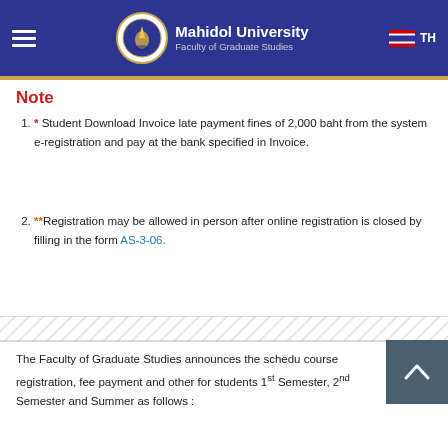Mahidol University Faculty of Graduate Studies
Note
* Student Download Invoice late payment fines of 2,000 baht from the system e-registration and pay at the bank specified in Invoice.
** Registration may be allowed in person after online registration is closed by filling in the form AS-3-06.
The Faculty of Graduate Studies announces the schedule course registration, fee payment and other for students 1st Semester, 2nd Semester and Summer as follows :